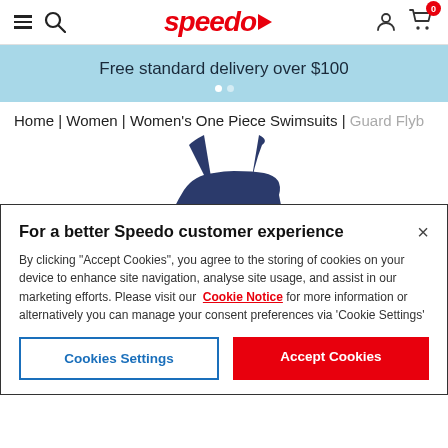Speedo header with hamburger, search, logo, user, and cart icons
Free standard delivery over $100
Home | Women | Women's One Piece Swimsuits | Guard Flyb
[Figure (photo): Blue Speedo Guard lifeguard one-piece swimsuit with white GUARD text on chest]
For a better Speedo customer experience
By clicking "Accept Cookies", you agree to the storing of cookies on your device to enhance site navigation, analyse site usage, and assist in our marketing efforts. Please visit our Cookie Notice for more information or alternatively you can manage your consent preferences via 'Cookie Settings'
Cookies Settings
Accept Cookies